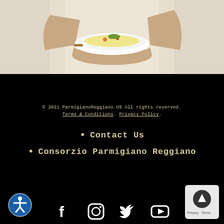[Figure (photo): Person in white/beige outfit holding a white bowl of pasta with vegetables, cropped to show torso and hands against light background]
© 2021 ParmigianoReggiano.US All rights reserved. Terms & Conditions. Privacy Policy.
Contact Us
Consorzio Parmigiano Reggiano
[Figure (illustration): Social media icons: Facebook, Instagram, Twitter, YouTube in white on black background]
[Figure (illustration): Accessibility button (wheelchair icon in blue circle) bottom left, and back-to-top button (dark circle with up arrow) bottom right with Privacy/Terms label]